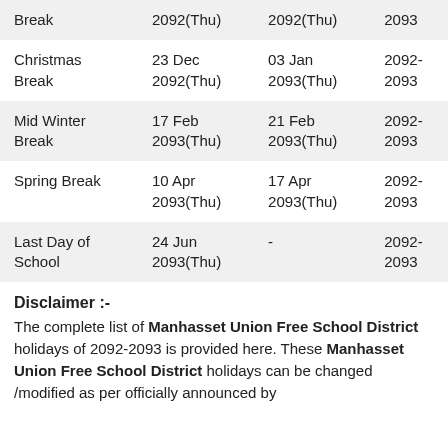| Break | 2092(Thu) | 2092(Thu) | 2093 |
| Christmas Break | 23 Dec 2092(Thu) | 03 Jan 2093(Thu) | 2092-2093 |
| Mid Winter Break | 17 Feb 2093(Thu) | 21 Feb 2093(Thu) | 2092-2093 |
| Spring Break | 10 Apr 2093(Thu) | 17 Apr 2093(Thu) | 2092-2093 |
| Last Day of School | 24 Jun 2093(Thu) | - | 2092-2093 |
Disclaimer :-
The complete list of Manhasset Union Free School District holidays of 2092-2093 is provided here. These Manhasset Union Free School District holidays can be changed /modified as per officially announced by